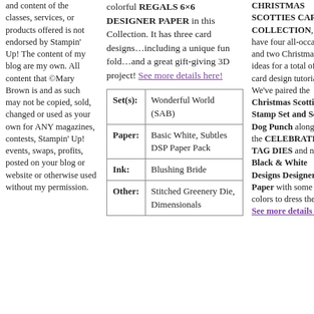and content of the classes, services, or products offered is not endorsed by Stampin' Up! The content of my blog are my own. All content that ©Mary Brown is and as such may not be copied, sold, changed or used as your own for ANY magazines, contests, Stampin' Up! events, swaps, profits, posted on your blog or website or otherwise used without my permission.
colorful REGALS 6×6 DESIGNER PAPER in this Collection. It has three card designs…including a unique fun fold…and a great gift-giving 3D project! See more details here!
|  |  |
| --- | --- |
| Set(s): | Wonderful World (SAB) |
| Paper: | Basic White, Subtles DSP Paper Pack |
| Ink: | Blushing Bride |
| Other: | Stitched Greenery Die, Dimensionals |
CHRISTMAS SCOTTIES CARD COLLECTION, we have four all-occasion and two Christmas card ideas for a total of SIX card design tutorials! We've paired the Christmas Scotties Stamp Set and Scottie Dog Punch along with the CELEBRATION TAG DIES and new Black & White Designs Designer Paper with some bright colors to dress them up! See more details here!